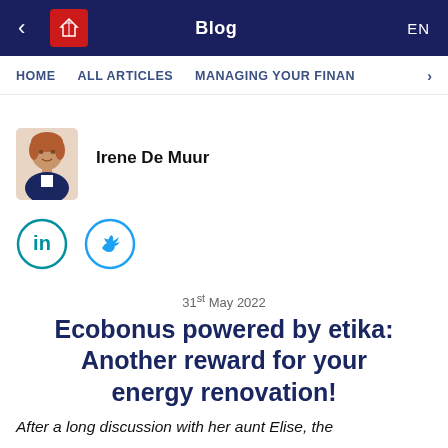Blog
HOME   ALL ARTICLES   MANAGING YOUR FINANC >
[Figure (photo): Author profile photo of Irene De Muur, a woman with auburn hair wearing a dark blazer]
Irene De Muur
[Figure (illustration): LinkedIn and Twitter social media icons in teal circles]
31st May 2022
Ecobonus powered by etika: Another reward for your energy renovation!
After a long discussion with her aunt Elise, the